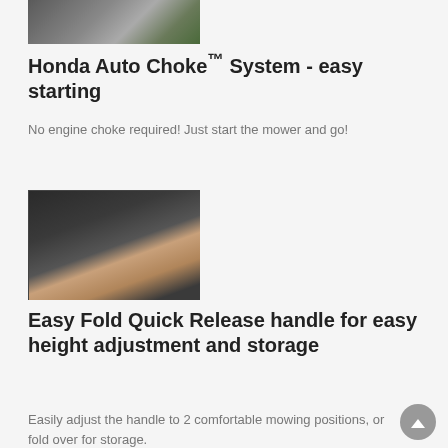[Figure (photo): Close-up photo of Honda lawn mower engine area, partial view from above]
Honda Auto Choke™ System - easy starting
No engine choke required! Just start the mower and go!
[Figure (photo): Close-up photo of a hand holding a quick release handle mechanism on a lawn mower]
Easy Fold Quick Release handle for easy height adjustment and storage
Easily adjust the handle to 2 comfortable mowing positions, or fold over for storage.